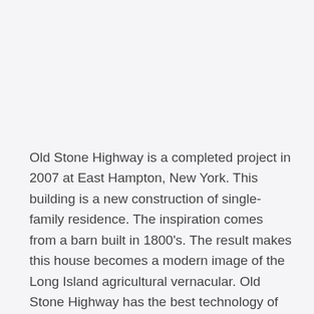Old Stone Highway is a completed project in 2007 at East Hampton, New York. This building is a new construction of single-family residence. The inspiration comes from a barn built in 1800's. The result makes this house becomes a modern image of the Long Island agricultural vernacular. Old Stone Highway has the best technology of environmentally low impact building.